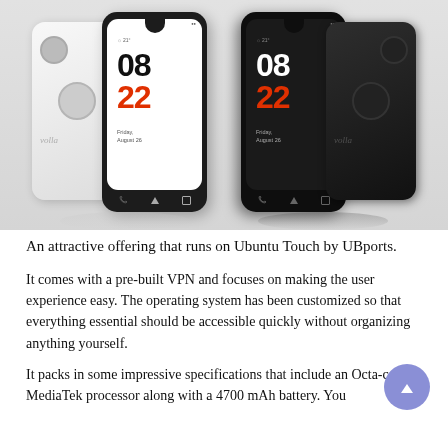[Figure (photo): Product photo showing two Volla phones side by side — a white model and a black model, each shown from front and back. Both display a clock showing 08 in dark numbers and 22 in red, with 'Friday, August 26' below. The background is light grey.]
An attractive offering that runs on Ubuntu Touch by UBports.
It comes with a pre-built VPN and focuses on making the user experience easy. The operating system has been customized so that everything essential should be accessible quickly without organizing anything yourself.
It packs in some impressive specifications that include an Octa-core MediaTek processor along with a 4700 mAh battery. You